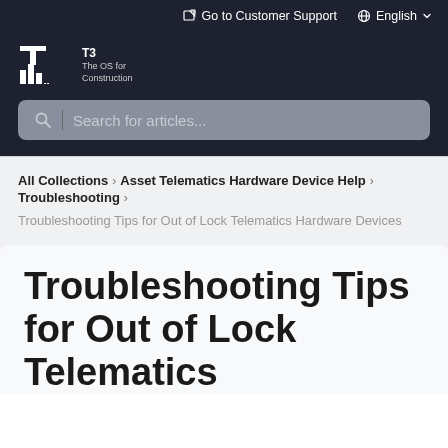Go to Customer Support   English
[Figure (logo): T3 The OS for Construction logo with bar chart icon in white]
[Figure (screenshot): Search bar with placeholder text 'Search for articles...']
All Collections > Asset Telematics Hardware Device Help > Troubleshooting
Troubleshooting Tips for Out of Lock Telematics Hardware Devices
Troubleshooting Tips for Out of Lock Telematics